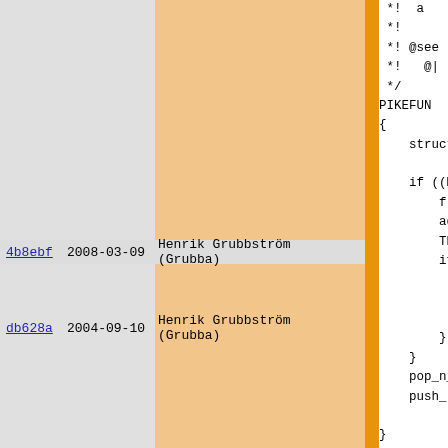| hash | date | author |
| --- | --- | --- |
| 4b8ebf | 2008-03-09 | Henrik Grubbström (Grubba) |
| db628a | 2004-09-10 | Henrik Grubbström (Grubba) |
*!
 *!
 *! @see
 *!   @|
 */
PIKEFUN
{
    struct

    if ((M
        free
        add_
        THIS
        if (
            po
            pu
            re
        }
    }
    pop_n_
    push_
}

/*! @dec
 *!
 *!     Ac
 *!
 *! @see
 *!   @|
 */